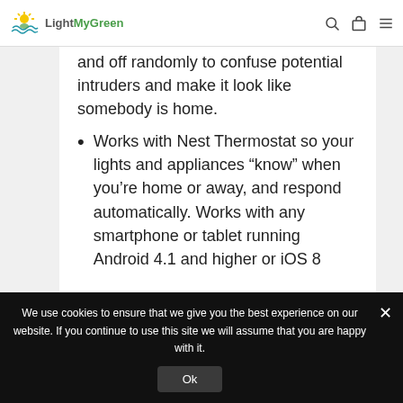LightMyGreen
and off randomly to confuse potential intruders and make it look like somebody is home.
Works with Nest Thermostat so your lights and appliances “know” when you’re home or away, and respond automatically. Works with any smartphone or tablet running Android 4.1 and higher or iOS 8
We use cookies to ensure that we give you the best experience on our website. If you continue to use this site we will assume that you are happy with it.